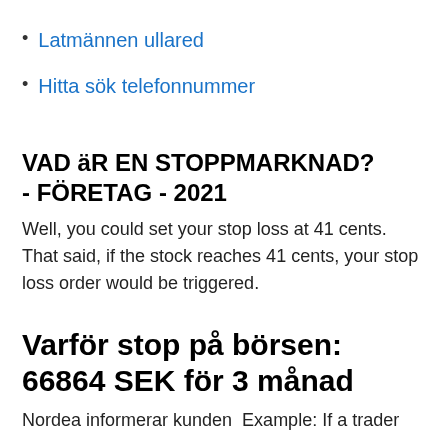Latmännen ullared
Hitta sök telefonnummer
VAD äR EN STOPPMARKNAD? - FÖRETAG - 2021
Well, you could set your stop loss at 41 cents. That said, if the stock reaches 41 cents, your stop loss order would be triggered.
Varför stop på börsen: 66864 SEK för 3 månad
Nordea informerar kunden  Example: If a trader